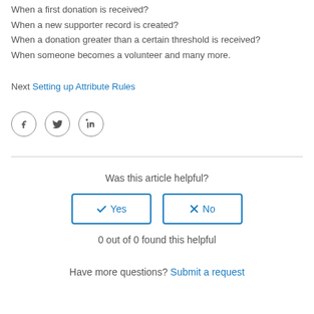When a first donation is received?
When a new supporter record is created?
When a donation greater than a certain threshold is received?
When someone becomes a volunteer and many more.
Next Setting up Attribute Rules
[Figure (illustration): Social media share icons: Facebook, Twitter, LinkedIn in circular outlines]
Was this article helpful?
Yes / No feedback buttons
0 out of 0 found this helpful
Have more questions? Submit a request